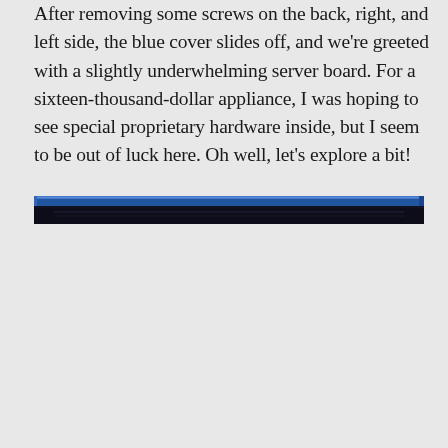After removing some screws on the back, right, and left side, the blue cover slides off, and we're greeted with a slightly underwhelming server board. For a sixteen-thousand-dollar appliance, I was hoping to see special proprietary hardware inside, but I seem to be out of luck here. Oh well, let's explore a bit!
[Figure (photo): A narrow horizontal strip showing the top edge of a blue server appliance cover/panel, with a dark background visible inside.]